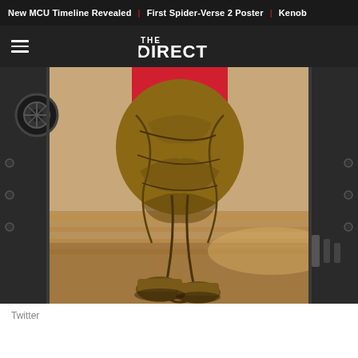New MCU Timeline Revealed | First Spider-Verse 2 Poster | Kenob
THE DIRECT
[Figure (photo): A stylized animated character (lower body only visible) wearing a red top and brown textured baggy trousers/leg wrappings, standing on a sandy/wooden floor between two large dark mechanical vault-like doors, resembling a scene from an animated superhero film.]
Twitter